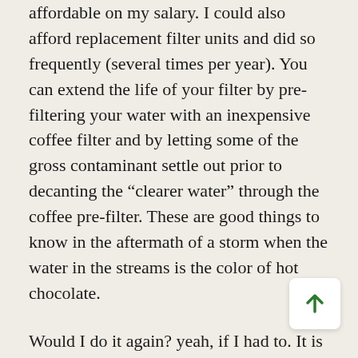affordable on my salary. I could also afford replacement filter units and did so frequently (several times per year). You can extend the life of your filter by pre-filtering your water with an inexpensive coffee filter and by letting some of the gross contaminant settle out prior to decanting the “clearer water” through the coffee pre-filter. These are good things to know in the aftermath of a storm when the water in the streams is the color of hot chocolate.
Would I do it again? yeah, if I had to. It is nice knowing that I can and have survived this way in the past. My wife is not wild about the scenario at all. I have to say, I would miss this site and all the knowledge shared about generators, solar panels, gas versus diesel versus propane or LNG. I am learning a lot. It has got some nice people posting here too.